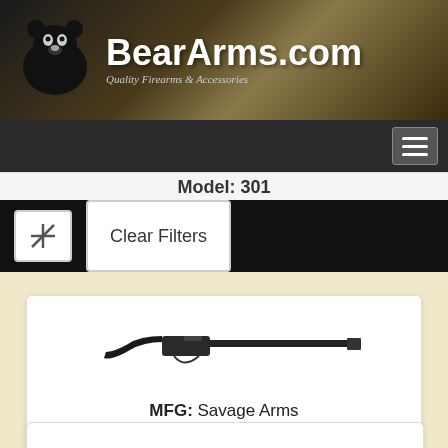[Figure (logo): BearArms.com logo with bear illustration, text 'BearArms.com' and tagline 'Quality Firearms & Accessories']
[Figure (other): Hamburger menu icon (three horizontal lines) in a grey rounded rectangle button]
Model: 301
[Figure (other): Filter icon button (crosshair/gun icon) and Clear Filters button]
[Figure (photo): Photo of a Savage Arms 301 Shotgun - single shot shotgun with dark synthetic stock and long barrel]
MFG: Savage Arms
Model: 301 Shotgun
[Figure (other): Details button and BUY button]